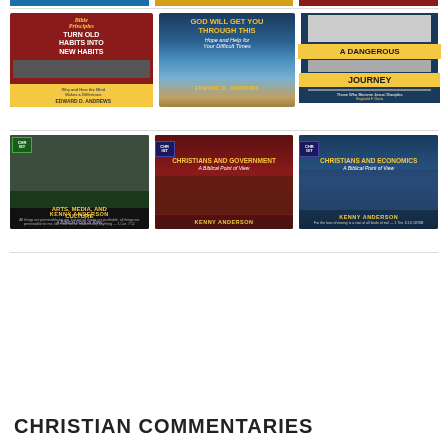[Figure (illustration): Top partial row of three book covers partially visible at top of page]
[Figure (illustration): Middle row of three book covers: 'Bible Principles - Turn Old Habits Into New Habits' by Edward D. Andrews (red cover), 'God Will Get You Through This - Hope and Help for Your Difficult Times' by Edward D. Andrews (lake/sunset cover), 'A Dangerous Journey - Those Who Become Jesus Disciples' by Reginald F. Davis]
[Figure (illustration): Bottom row of three book covers: 'Arts, Media, and Culture - A Biblical Point of View' by Kenny Anderson (dark green/crowd cover), 'Christians and Government - A Biblical Point of View' by Kenny Anderson (red/Capitol cover), 'Christians and Economics - A Biblical Point of View' by Kenny Anderson (blue/business cover)]
CHRISTIAN COMMENTARIES